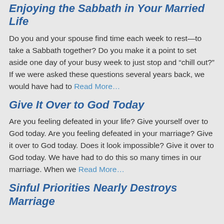Enjoying the Sabbath in Your Married Life
Do you and your spouse find time each week to rest—to take a Sabbath together? Do you make it a point to set aside one day of your busy week to just stop and “chill out?” If we were asked these questions several years back, we would have had to Read More…
Give It Over to God Today
Are you feeling defeated in your life? Give yourself over to God today. Are you feeling defeated in your marriage? Give it over to God today. Does it look impossible? Give it over to God today. We have had to do this so many times in our marriage. When we Read More…
Sinful Priorities Nearly Destroys Marriage